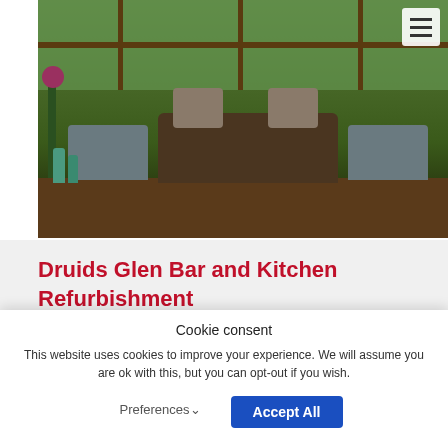[Figure (photo): Interior photograph of a stylish bar/lounge area with blue-grey upholstered sofas, brown leather seating, glass windows overlooking green trees, and decorative flowers and bottles in foreground]
Druids Glen Bar and Kitchen Refurbishment
Cookie consent
This website uses cookies to improve your experience. We will assume you are ok with this, but you can opt-out if you wish.
Preferences
Accept All